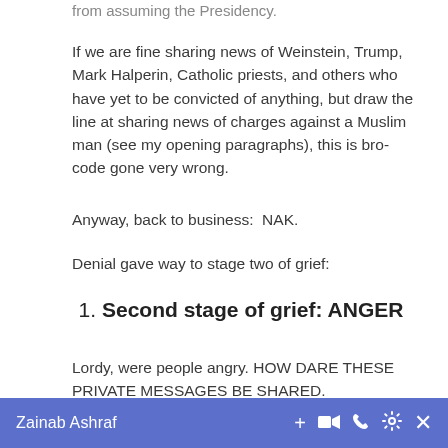from assuming the Presidency.
If we are fine sharing news of Weinstein, Trump, Mark Halperin, Catholic priests, and others who have yet to be convicted of anything, but draw the line at sharing news of charges against a Muslim man (see my opening paragraphs), this is bro-code gone very wrong.
Anyway, back to business:  NAK.
Denial gave way to stage two of grief:
Second stage of grief: ANGER
Lordy, were people angry. HOW DARE THESE PRIVATE MESSAGES BE SHARED.
Zainab Ashraf